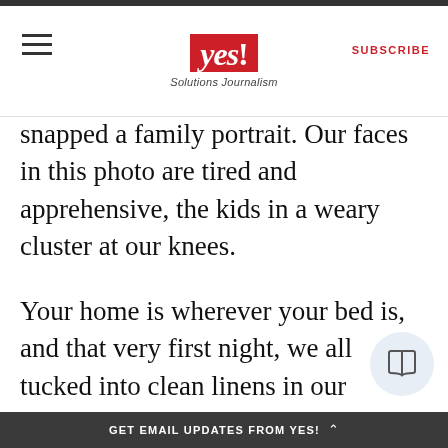yes! Solutions Journalism — SUBSCRIBE
snapped a family portrait. Our faces in this photo are tired and apprehensive, the kids in a weary cluster at our knees.
Your home is wherever your bed is, and that very first night, we all tucked into clean linens in our strange, new, small, and oddly-shaped rooms.
In the light of day, we saw still more signs of the funky junky-ness of our new dwelling
GET EMAIL UPDATES FROM YES! ^